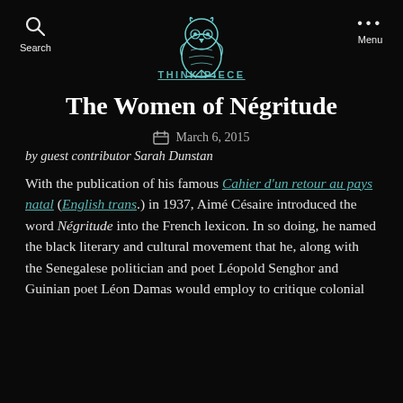Search | [Owl Logo] | Menu
THINK PIECE
The Women of Négritude
March 6, 2015
by guest contributor Sarah Dunstan
With the publication of his famous Cahier d'un retour au pays natal (English trans.) in 1937, Aimé Césaire introduced the word Négritude into the French lexicon. In so doing, he named the black literary and cultural movement that he, along with the Senegalese politician and poet Léopold Senghor and Guinian poet Léon Damas would employ to critique colonial